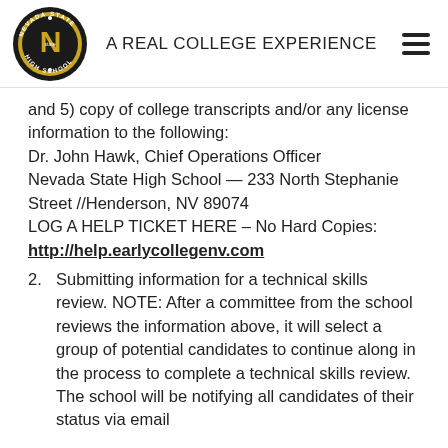A REAL COLLEGE EXPERIENCE
and 5) copy of college transcripts and/or any license information to the following:
Dr. John Hawk, Chief Operations Officer
Nevada State High School — 233 North Stephanie Street //Henderson, NV 89074
LOG A HELP TICKET HERE – No Hard Copies: http://help.earlycollegenv.com
2. Submitting information for a technical skills review. NOTE: After a committee from the school reviews the information above, it will select a group of potential candidates to continue along in the process to complete a technical skills review. The school will be notifying all candidates of their status via email